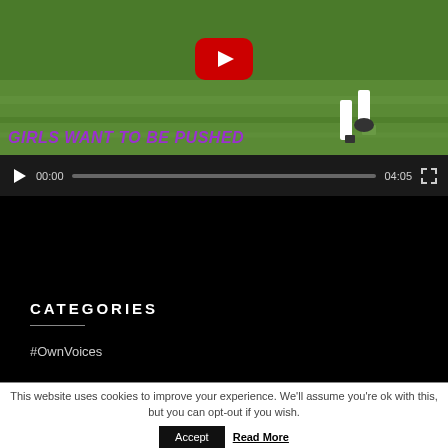[Figure (screenshot): YouTube video player showing a girls soccer/football scene with overlay text 'GIRLS WANT TO BE PUSHED' in purple italic bold font. Video controls show 00:00 / 04:05 with play button and fullscreen icon.]
CATEGORIES
#OwnVoices
This website uses cookies to improve your experience. We'll assume you're ok with this, but you can opt-out if you wish.
Accept  Read More